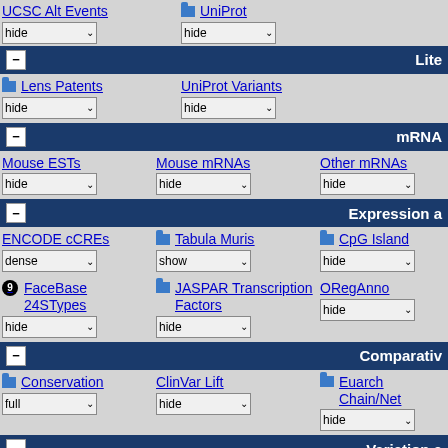UCSC Alt Events hide | UniProt hide
− Lite
Lens Patents hide | UniProt Variants hide
− mRNA
Mouse ESTs hide | Mouse mRNAs hide | Other mRNAs hide
− Expression a
ENCODE cCREs dense | Tabula Muris show | CpG Islands hide
FaceBase 24STypes hide | JASPAR Transcription Factors hide | ORegAnno hide
− Comparativ
Conservation full | ClinVar Lift hide | Euarch Chain/Net hide
− Variation a